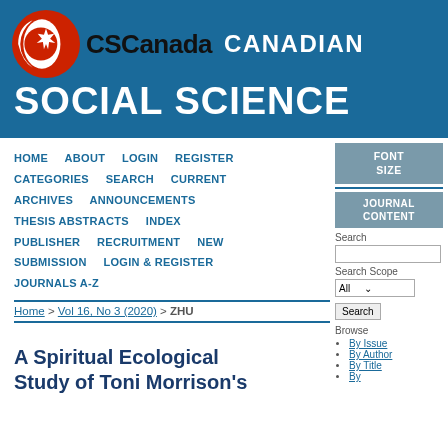CSCanada CANADIAN SOCIAL SCIENCE
HOME   ABOUT   LOGIN   REGISTER   CATEGORIES   SEARCH   CURRENT   ARCHIVES   ANNOUNCEMENTS   THESIS ABSTRACTS   INDEX   PUBLISHER   RECRUITMENT   NEW SUBMISSION   LOGIN & REGISTER   JOURNALS A-Z
Home > Vol 16, No 3 (2020) > ZHU
[Figure (other): Font Size sidebar box]
[Figure (other): Journal Content sidebar with search and browse]
A Spiritual Ecological Study of Toni Morrison's